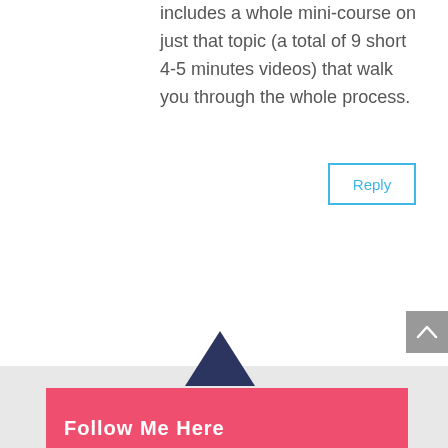includes a whole mini-course on just that topic (a total of 9 short 4-5 minutes videos) that walk you through the whole process.
Reply
Follow Me Here